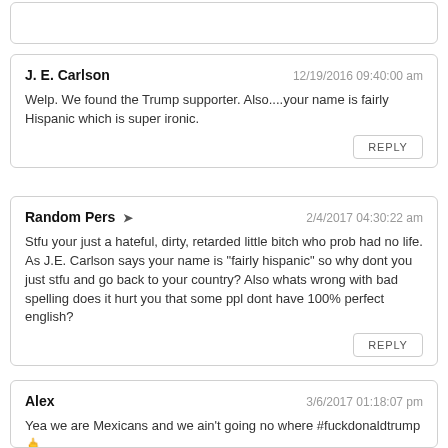[partial comment card at top]
J. E. Carlson | 12/19/2016 09:40:00 am
Welp. We found the Trump supporter. Also....your name is fairly Hispanic which is super ironic.
REPLY
Random Pers ➤ | 2/4/2017 04:30:22 am
Stfu your just a hateful, dirty, retarded little bitch who prob had no life. As J.E. Carlson says your name is "fairly hispanic" so why dont you just stfu and go back to your country? Also whats wrong with bad spelling does it hurt you that some ppl dont have 100% perfect english?
REPLY
Alex | 3/6/2017 01:18:07 pm
Yea we are Mexicans and we ain't going no where #fuckdonaldtrump 🖕